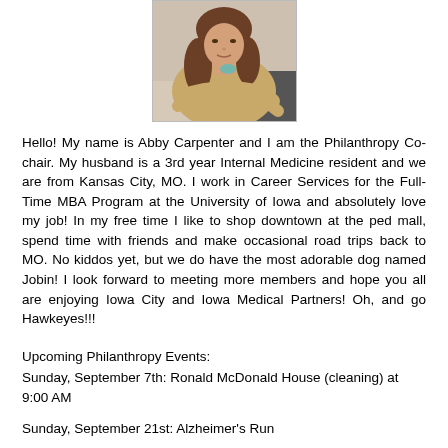[Figure (photo): Portrait photo of a woman with long curly brown hair wearing a tan long-sleeve top, arms crossed, standing in front of a light background.]
Hello! My name is Abby Carpenter and I am the Philanthropy Co-chair. My husband is a 3rd year Internal Medicine resident and we are from Kansas City, MO. I work in Career Services for the Full-Time MBA Program at the University of Iowa and absolutely love my job! In my free time I like to shop downtown at the ped mall, spend time with friends and make occasional road trips back to MO. No kiddos yet, but we do have the most adorable dog named Jobin! I look forward to meeting more members and hope you all are enjoying Iowa City and Iowa Medical Partners! Oh, and go Hawkeyes!!!
Upcoming Philanthropy Events:
Sunday, September 7th: Ronald McDonald House (cleaning) at 9:00 AM
Sunday, September 21st: Alzheimer's Run